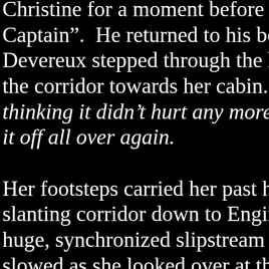Christine for a moment before he answ Captain". He returned to his board, ta Devereux stepped through the hatchw the corridor towards her cabin. Funny thinking it didn't hurt any more, and h it off all over again. Her footsteps carried her past her qua slanting corridor down to Engineering huge, synchronized slipstream engines slowed as she looked over at them. So both had a hand in every drive that wa Everything we've got is possible becau Space, and the chance to explore